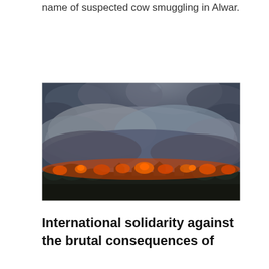name of suspected cow smuggling in Alwar.
[Figure (photo): A wildfire burning through a residential area at dusk, with large plumes of dark smoke rising into a cloudy sky and orange flames visible along the treeline.]
International solidarity against the brutal consequences of